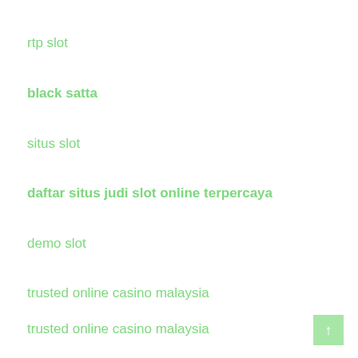rtp slot
black satta
situs slot
daftar situs judi slot online terpercaya
demo slot
trusted online casino malaysia
trusted online casino malaysia